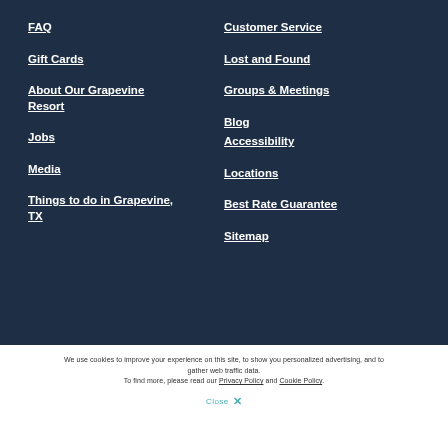FAQ
Customer Service
Gift Cards
Lost and Found
About Our Grapevine Resort
Groups & Meetings
Blog
Jobs
Accessibility
Media
Locations
Things to do in Grapevine, TX
Best Rate Guarantee
Sitemap
We use cookies to improve your experience on this site, to show you personalized advertising, and to gather web traffic data. To find more, please read our Privacy Policy and Cookie Policy.
Close